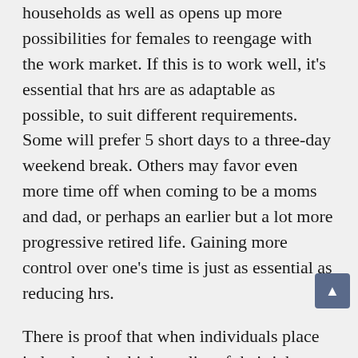households as well as opens up more possibilities for females to reengage with the work market. If this is to work well, it's essential that hrs are as adaptable as possible, to suit different requirements. Some will prefer 5 short days to a three-day weekend break. Others may favor even more time off when coming to be a moms and dad, or perhaps an earlier but a lot more progressive retired life. Gaining more control over one's time is just as essential as reducing hrs.
There is proof that when individuals place in less hrs, the high quality of their job improves, which can increase economic productivity and rates of pay. When people have more non reusable time, they are additionally less most likely to get energy-intensive 'comfort' items such as processed ready dishes, or to choose faster and less sustainable modes of transportation, such as an auto rather than a bike,